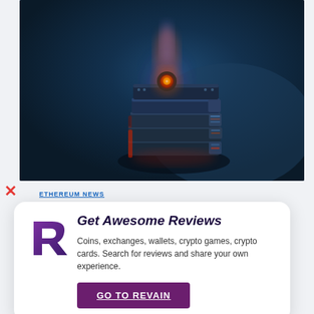[Figure (illustration): Dark blue background with a stacked sci-fi hardware device (layered GPU-like machine) with red/orange glowing top and orange lens, emitting a flame-like glow upward]
ETHEREUM NEWS
[Figure (logo): Revain R logo in purple/dark violet stylized letter R]
Get Awesome Reviews
Coins, exchanges, wallets, crypto games, crypto cards. Search for reviews and share your own experience.
GO TO REVAIN
Reason to use Bitcoin...